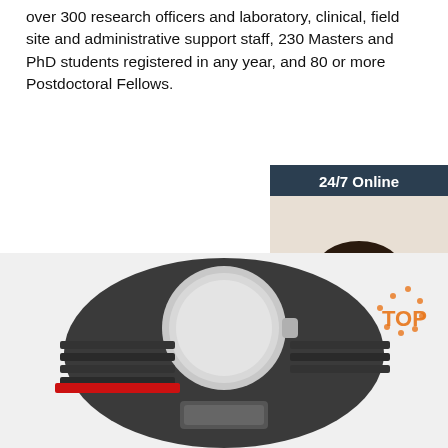over 300 research officers and laboratory, clinical, field site and administrative support staff, 230 Masters and PhD students registered in any year, and 80 or more Postdoctoral Fellows.
[Figure (other): Orange 'Get Price' button]
[Figure (other): 24/7 Online chat widget with photo of woman wearing headset, 'Click here for free chat!' text and orange QUOTATION button]
[Figure (photo): Close-up photo of a wristwatch or sports device with red accent and velcro strap, with orange/red dotted 'TOP' watermark in corner]